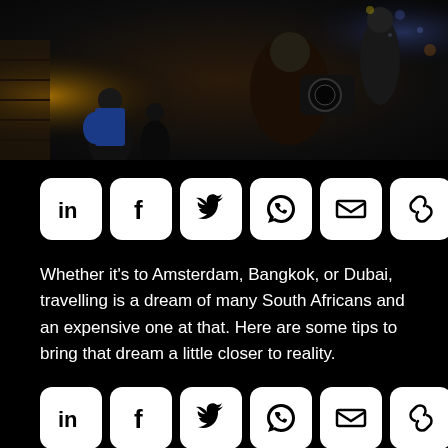[Figure (photo): Dark photo of people in a public space, one person holding a camera, taken at night or in a dimly lit area with bokeh lights in background]
[Figure (infographic): Social sharing buttons row: LinkedIn, Facebook, Twitter, WhatsApp, Email, Link, More (+)]
Whether it's to Amsterdam, Bangkok, or Dubai, travelling is a dream of many South Africans and an expensive one at that. Here are some tips to bring that dream a little closer to reality.
[Figure (infographic): Social sharing buttons row: LinkedIn, Facebook, Twitter, WhatsApp, Email, Link, More (+)]